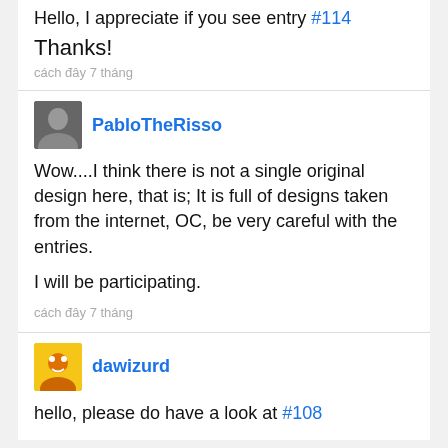Hello, I appreciate if you see entry #114
Thanks!
cách đây 7 tháng
PabloTheRisso
Wow....I think there is not a single original design here, that is; It is full of designs taken from the internet, OC, be very careful with the entries.

I will be participating.
cách đây 7 tháng
dawizurd
hello, please do have a look at #108